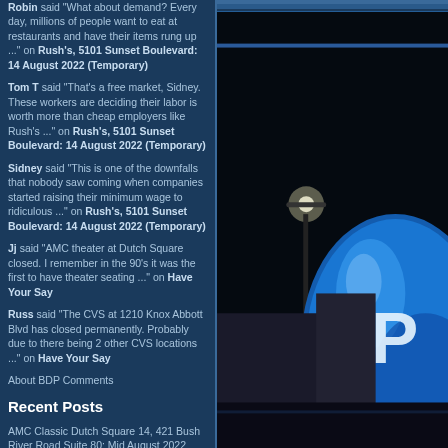Robin said "What about demand? Every day, millions of people want to eat at restaurants and have their items rung up ..." on Rush's, 5101 Sunset Boulevard: 14 August 2022 (Temporary)
Tom T said "That's a free market, Sidney. These workers are deciding their labor is worth more than cheap employers like Rush's ..." on Rush's, 5101 Sunset Boulevard: 14 August 2022 (Temporary)
Sidney said "This is one of the downfalls that nobody saw coming when companies started raising their minimum wage to ridiculous ..." on Rush's, 5101 Sunset Boulevard: 14 August 2022 (Temporary)
Jj said "AMC theater at Dutch Square closed. I remember in the 90's it was the first to have theater seating ..." on Have Your Say
Russ said "The CVS at 1210 Knox Abbott Blvd has closed permanently. Probably due to there being 2 other CVS locations ..." on Have Your Say
About BDP Comments
Recent Posts
AMC Classic Dutch Square 14, 421 Bush River Road Suite 80: Mid August 2022
[Figure (photo): Night-time photograph of a large illuminated blue globe/sphere structure (appears to be a movie theater or entertainment venue) with the letter 'P' visible, lit up against a dark sky with a street lamp visible in the background.]